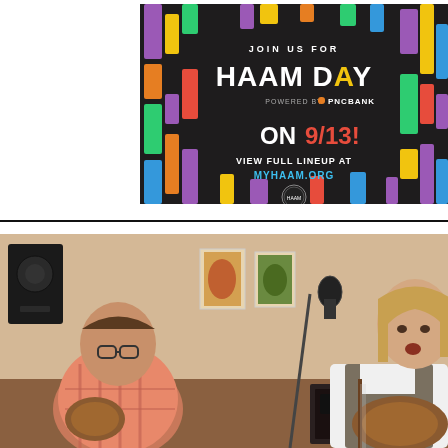[Figure (illustration): HAAM Day promotional advertisement on dark background with colorful vertical bars. Text reads: JOIN US FOR HAAM DAY POWERED BY PNC BANK ON 9/13! VIEW FULL LINEUP AT MYHAAM.ORG with a circular logo at the bottom.]
[Figure (photo): Two musicians playing acoustic guitars indoors. The left person is a heavyset man wearing a plaid shirt and glasses. The right person is a younger man with longer hair wearing a white shirt and vest, singing into a microphone. Posters visible on the wall behind them, and audio equipment in the background.]